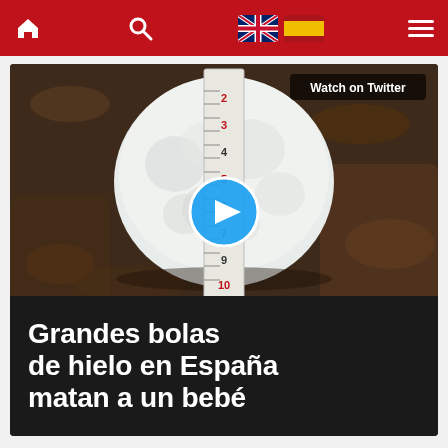Navigation bar with home, search, UK flag, Spain flag, and menu icons
[Figure (photo): Large hailstone measured with a ruler/tape measure against a dirt background. The hailstone is white and roughly the size of a fist. A blue play button overlay is visible in the center. A 'Watch on Twitter' badge appears in the upper right corner of the image.]
Grandes bolas de hielo en España matan a un bebé